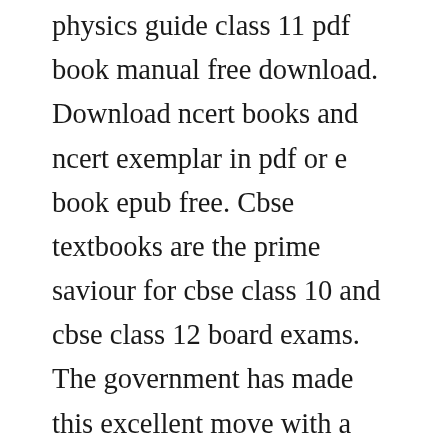physics guide class 11 pdf book manual free download. Download ncert books and ncert exemplar in pdf or e book epub free. Cbse textbooks are the prime saviour for cbse class 10 and cbse class 12 board exams. The government has made this excellent move with a mission to help the students to get easy access to cbse ncert textbooks. Ncert solutions for class 11 physical education in pdf. Free download of cbse class 11 biology notes pdf would help students in effective preparation and revision for the examinations. Why one should read ncert book for class 11 biology.